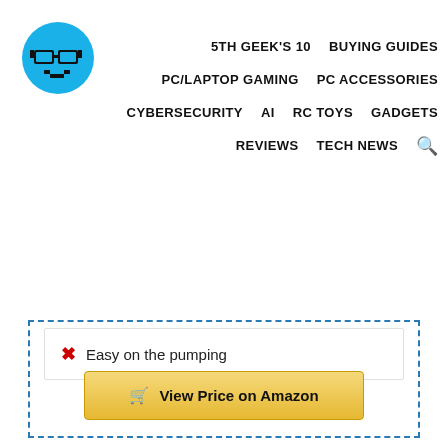[Figure (logo): Blue circular pixel-art logo with a face wearing glasses on a blue background]
5TH GEEK'S 10   BUYING GUIDES   PC/LAPTOP GAMING   PC ACCESSORIES   CYBERSECURITY   AI   RC TOYS   GADGETS   REVIEWS   TECH NEWS
Easy on the pumping
View Price on Amazon